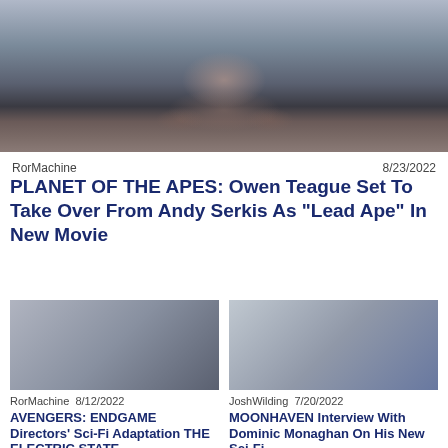[Figure (photo): Close-up of a CGI ape face from Planet of the Apes movie, dark and moody tones]
RorMachine   8/23/2022
PLANET OF THE APES: Owen Teague Set To Take Over From Andy Serkis As "Lead Ape" In New Movie
[Figure (photo): Thumbnail image for Avengers Endgame article]
RorMachine   8/12/2022
AVENGERS: ENDGAME Directors' Sci-Fi Adaptation THE ELECTRIC STATE
[Figure (photo): Thumbnail image for Moonhaven article]
JoshWilding   7/20/2022
MOONHAVEN Interview With Dominic Monaghan On His New Sci-Fi Series And...